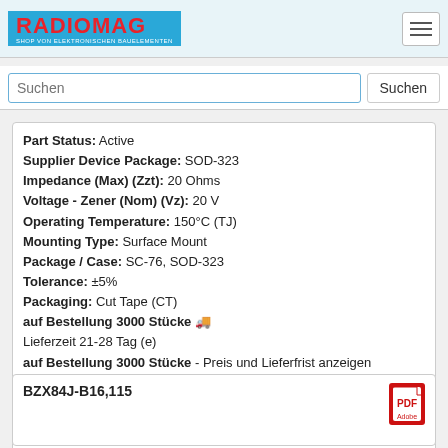RADIOMAG - SHOP VON ELEKTRONISCHEN BAUELEMENTEN
Suchen
Part Status: Active
Supplier Device Package: SOD-323
Impedance (Max) (Zzt): 20 Ohms
Voltage - Zener (Nom) (Vz): 20 V
Operating Temperature: 150°C (TJ)
Mounting Type: Surface Mount
Package / Case: SC-76, SOD-323
Tolerance: ±5%
Packaging: Cut Tape (CT)
auf Bestellung 3000 Stücke 🚚
Lieferzeit 21-28 Tag (e)
auf Bestellung 3000 Stücke - Preis und Lieferfrist anzeigen
| Qty | Price |
| --- | --- |
| 35+ | 0.75 EUR |
| 42+ | 0.62 EUR |
| 100+ | 0.33 EUR |
| 500+ | 0.22 EUR |
| 1000+ | 0.15 EUR |
BZX84J-B16,115